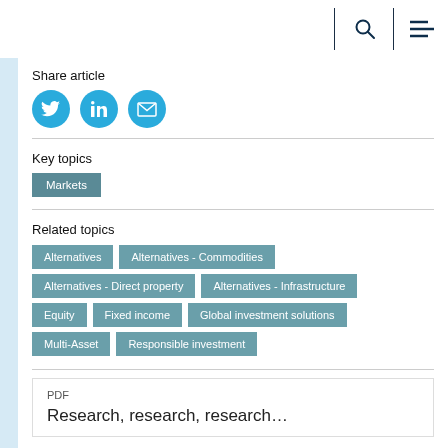Search | Menu
Share article
[Figure (infographic): Three circular social share buttons: Twitter (bird icon), LinkedIn (in icon), Email (envelope icon) — all in cyan/blue color]
Key topics
Markets
Related topics
Alternatives
Alternatives - Commodities
Alternatives - Direct property
Alternatives - Infrastructure
Equity
Fixed income
Global investment solutions
Multi-Asset
Responsible investment
PDF
Research, research, research...